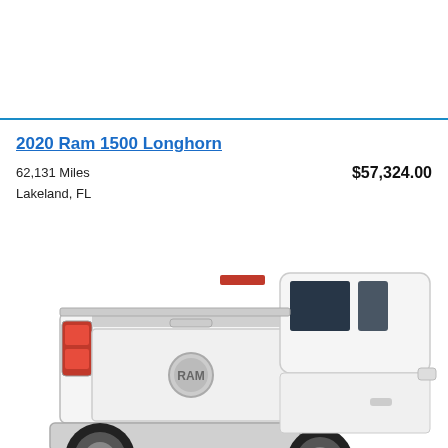[Figure (photo): Partial view of a vehicle listing card from a car marketplace website, top portion cut off, white background]
2020 Ram 1500 Longhorn
62,131 Miles
Lakeland, FL
$57,324.00
[Figure (photo): Rear three-quarter view of a white 2020 Ram 1500 Longhorn pickup truck on white background]